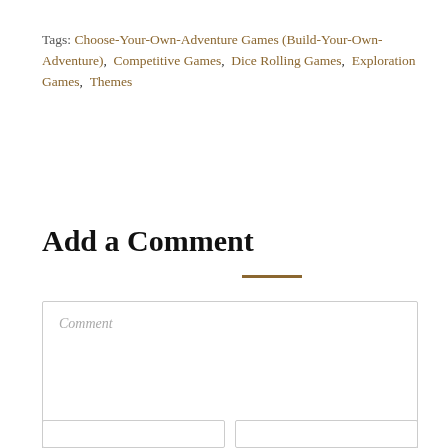Tags: Choose-Your-Own-Adventure Games (Build-Your-Own-Adventure), Competitive Games, Dice Rolling Games, Exploration Games, Themes
Add a Comment
Comment